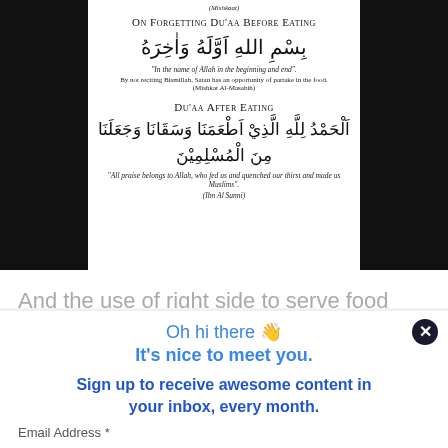[Figure (illustration): Islamic du'aa (supplication) card showing Arabic text and English translations for On Forgetting Du'aa Before Eating and Du'aa After Eating, with black side bars]
And the use of right side to serve food and right hand to eat
Oh hi there 👋
It's nice to meet you.
Sign up to receive awesome content in your inbox, every month.
Email Address *